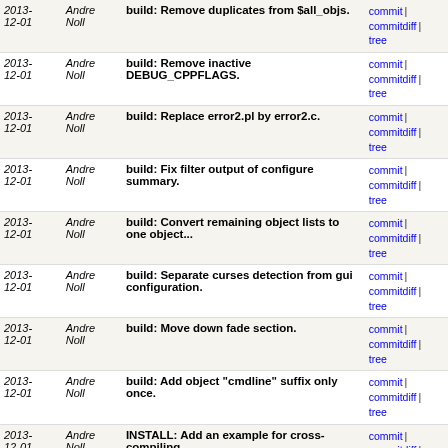| Date | Author | Description | Links |
| --- | --- | --- | --- |
| 2013-12-01 | Andre Noll | build: Remove duplicates from $all_objs. | commit | commitdiff | tree |
| 2013-12-01 | Andre Noll | build: Remove inactive DEBUG_CPPFLAGS. | commit | commitdiff | tree |
| 2013-12-01 | Andre Noll | build: Replace error2.pl by error2.c. | commit | commitdiff | tree |
| 2013-12-01 | Andre Noll | build: Fix filter output of configure summary. | commit | commitdiff | tree |
| 2013-12-01 | Andre Noll | build: Convert remaining object lists to one object... | commit | commitdiff | tree |
| 2013-12-01 | Andre Noll | build: Separate curses detection from gui configuration. | commit | commitdiff | tree |
| 2013-12-01 | Andre Noll | build: Move down fade section. | commit | commitdiff | tree |
| 2013-12-01 | Andre Noll | build: Add object "cmdline" suffix only once. | commit | commitdiff | tree |
| 2013-12-01 | Andre Noll | INSTALL: Add an example for cross-compiling. | commit | commitdiff | tree |
| 2013-12-01 | Andre Noll | build: Fix make install for cross builds. | commit | commitdiff | tree |
| 2013-12-01 | Andre Noll | build: Generate man pages directly from ggo files. | commit | commitdiff | tree |
| 2013-12-01 | Andre Noll | build: Remove fnmatch, malloc, realloc tests. | commit | commitdiff | tree |
| 2013-12-01 | Andre Noll | build: Make crypto optional. | commit | commitdiff | tree |